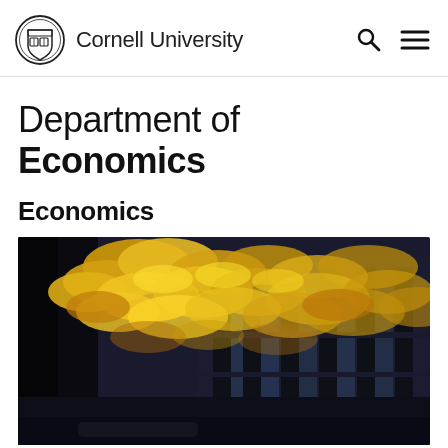Cornell University
Department of Economics
Economics
[Figure (photo): Autumn yellow maple leaves backlit against a dark background with a building facade with tall windows visible behind them.]